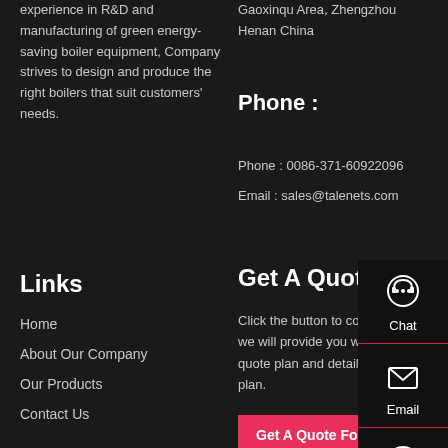experience in R&D and manufacturing of green energy-saving boiler equipment, Company strives to design and produce the right boilers that suit customers' needs.
Gaoxinqu Area, Zhengzhou Henan China
Phone :
Phone : 0086-371-60922096
Email : sales@talenets.com
Links
Home
About Our Company
Our Products
Contact Us
Get A Quote
Click the button to contact us, we will provide you with a free quote plan and detailed project plan.
Get A Quote For
[Figure (infographic): Sidebar panel with Chat, Email, and Contact icons and labels]